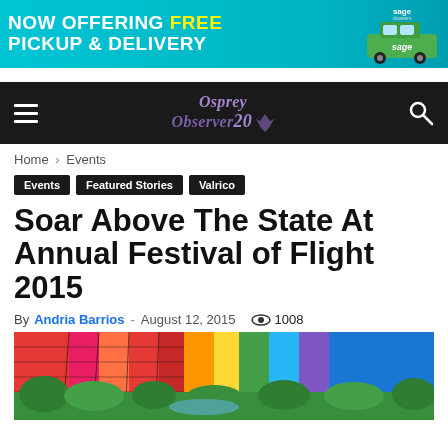[Figure (screenshot): Advertisement banner: cyan/teal background with white bold text 'NOW OFFERING FREE PICKUP & DELIVERY' with 'FREE' in yellow, and a Sage Cleaners logo with a car on the right side]
[Figure (screenshot): Dark navigation bar with hamburger menu icon on left, Osprey Observer 20th anniversary logo in center in purple cursive, and search icon on right]
Home › Events
Events   Featured Stories   Valrico
Soar Above The State At Annual Festival of Flight 2015
By Andria Barrios - August 12, 2015   👁 1008
[Figure (photo): Close-up photo of a colorful hot air balloon (red, pink, orange stripes) against a sky background, with green landscape visible below]